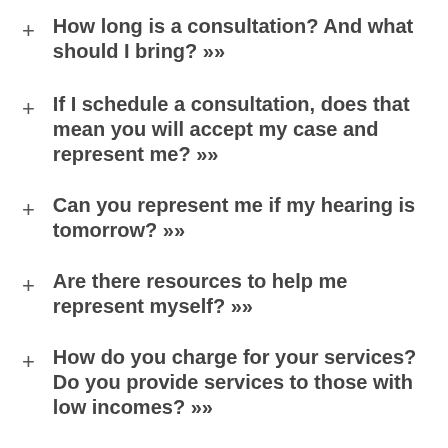How long is a consultation?  And what should I bring? >>
If I schedule a consultation, does that mean you will accept my case and represent me? >>
Can you represent me if my hearing is tomorrow? >>
Are there resources to help me represent myself? >>
How do you charge for your services?  Do you provide services to those with low incomes? >>